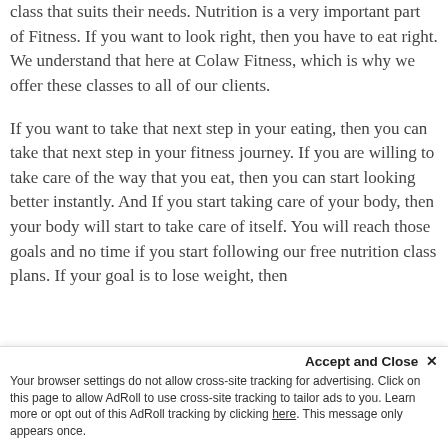class that suits their needs. Nutrition is a very important part of Fitness. If you want to look right, then you have to eat right. We understand that here at Colaw Fitness, which is why we offer these classes to all of our clients.
If you want to take that next step in your eating, then you can take that next step in your fitness journey. If you are willing to take care of the way that you eat, then you can start looking better instantly. And If you start taking care of your body, then your body will start to take care of itself. You will reach those goals and no time if you start following our free nutrition class plans. If your goal is to lose weight, then
Accept and Close ×
Your browser settings do not allow cross-site tracking for advertising. Click on this page to allow AdRoll to use cross-site tracking to tailor ads to you. Learn more or opt out of this AdRoll tracking by clicking here. This message only appears once.